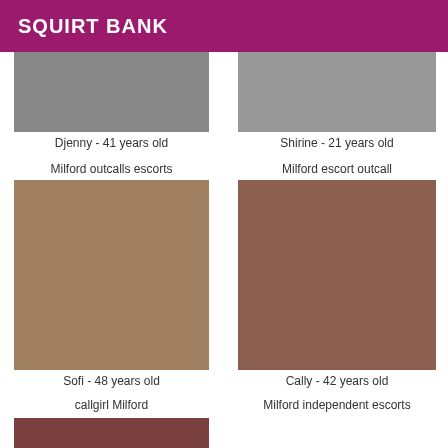SQUIRT BANK
[Figure (photo): Partial photo of Djenny]
Djenny - 41 years old
[Figure (photo): Partial photo of Shirine]
Shirine - 21 years old
Milford outcalls escorts
[Figure (photo): Photo of Sofi]
Sofi - 48 years old
Milford escort outcall
[Figure (photo): Photo of Cally sitting on sofa]
Cally - 42 years old
callgirl Milford
Milford independent escorts
[Figure (photo): Partial photo bottom row left]